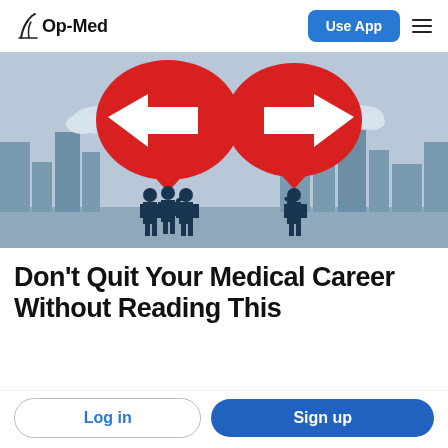Op-Med | Use App
[Figure (illustration): Illustration of two groups of businesspeople with large red speech-bubble arrows pointing in opposite directions (left and right), set against a city skyline background. Represents disagreement or opposing opinions.]
Don't Quit Your Medical Career Without Reading This
Log in | Sign up